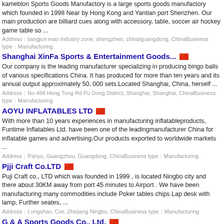kameblon Sports Goods Manufactory is a large sports goods manufactory which founded in 1998 Near by Hong Kong and Yantian port Shenzhen. Our main production are billiard cues along with accessory, table, soccer air hockey game table so ...
Address：jiangjun mao industry zone, shengzhen, china/guangdong, ChinaBusiness type：Manufacturing
Shanghai XinFa Sports & Entertainment Goods...
Our company is the leading manufacturer specializing in producing bingo balls of various specifications China. It has produced for more than ten years and its annual output approximately 50, 000 sets.Located Shanghai, China, herself ...
Address：No 498 Hong Tong Rd Pu Dong District, Shanghai, Shanghai, ChinaBusiness type：Manufacturing
AOYU INFLATABLES LTD
With more than 10 years experiences in manufacturing inflatableproducts, Funtime Inflatables Ltd. have been one of the leadingmanufacturer China for inflatable games and advertising.Our products exported to worldwide markets ...
Address：Panyu, Guangzhou, Guangdong, ChinaBusiness type：Manufacturing
Pjji Craft Co.LTD
Puji Craft co., LTD which was founded in 1999 , is located Ningbo city and there about 30KM away from port 45 minutes to Airport . We have been manufacturing many commodities include Poker tables chips Lap desk with lamp, Further seates, ...
Address：Longshan, Cixi, Zhejiang Ningbo, ChinaBusiness type：Manufacturing
G & A Sports Goods Co., Ltd.
G &amp; A Sports Goods Co., Ltd. is one of the leading exporter specializes in field home fitness equipment strength training equipment, such as, which include Exercise Bike, Home GYM, Steppers, Elliptical Trainer, Dumbbell, All ...